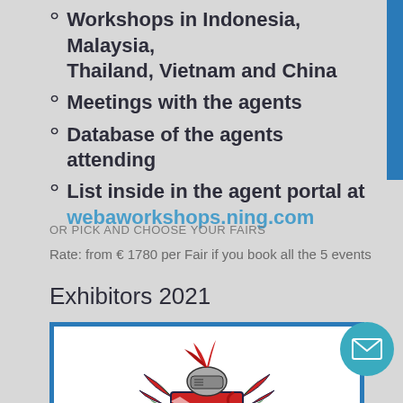Workshops in Indonesia, Malaysia, Thailand, Vietnam and China
Meetings with the agents
Database of the agents attending
List inside in the agent portal at webaworkshops.ning.com
OR PICK AND CHOOSE YOUR FAIRS
Rate: from € 1780 per Fair if you book all the 5 events
Exhibitors 2021
[Figure (illustration): Heraldic coat of arms with red lion and knight helmet, red and white design on white background inside a blue-bordered box]